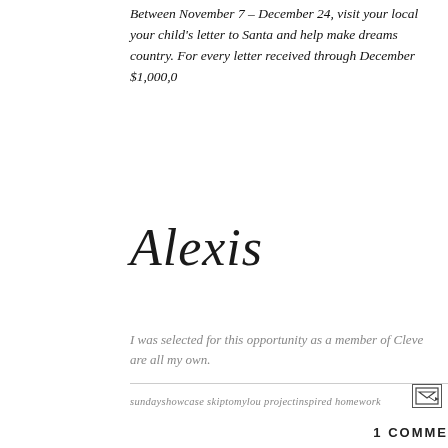Between November 7 – December 24, visit your local your child's letter to Santa and help make dreams country. For every letter received through December $1,000,0
Alexis
I was selected for this opportunity as a member of Cleve are all my own.
sundayshowcase skiptomylou projectinspired homework
[Figure (other): Email/forward icon button]
1 COMME